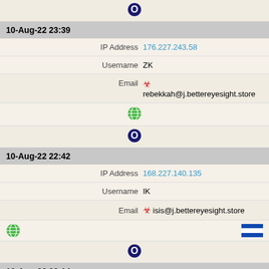[Figure (other): Opera browser icon (dark blue O logo)]
10-Aug-22 23:39
IP Address  176.227.243.58
Username  ZK
Email  [biohazard icon] rebekkah@j.bettereyesight.store
[Figure (other): Globe/world icon (green)]
[Figure (other): Opera browser icon (dark blue O logo)]
10-Aug-22 22:42
IP Address  168.227.140.135
Username  IK
Email  [biohazard icon] isis@j.bettereyesight.store
[Figure (other): Globe/world icon (green) and El Salvador flag icon]
[Figure (other): Opera browser icon (dark blue O logo)]
10-Aug-22 22:14
IP Address  23.108.86.102
Username  SeleneGi